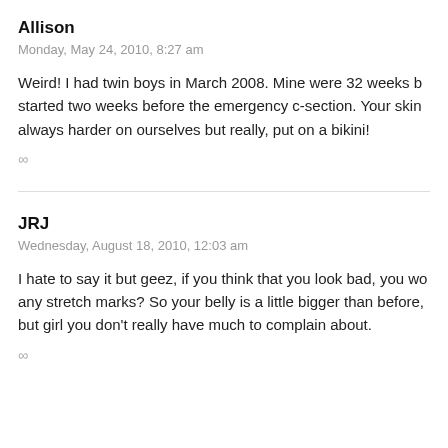Allison
Monday, May 24, 2010, 8:27 am
Weird! I had twin boys in March 2008. Mine were 32 weeks b... started two weeks before the emergency c-section. Your skin... always harder on ourselves but really, put on a bikini!
∞
JRJ
Wednesday, August 18, 2010, 12:03 am
I hate to say it but geez, if you think that you look bad, you wo... any stretch marks? So your belly is a little bigger than before,... but girl you don't really have much to complain about.
∞